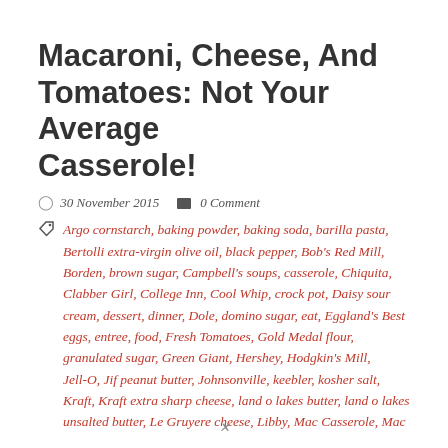Macaroni, Cheese, And Tomatoes: Not Your Average Casserole!
30 November 2015   0 Comment
Argo cornstarch, baking powder, baking soda, barilla pasta, Bertolli extra-virgin olive oil, black pepper, Bob's Red Mill, Borden, brown sugar, Campbell's soups, casserole, Chiquita, Clabber Girl, College Inn, Cool Whip, crock pot, Daisy sour cream, dessert, dinner, Dole, domino sugar, eat, Eggland's Best eggs, entree, food, Fresh Tomatoes, Gold Medal flour, granulated sugar, Green Giant, Hershey, Hodgkin's Mill, Jell-O, Jif peanut butter, Johnsonville, keebler, kosher salt, Kraft, Kraft extra sharp cheese, land o lakes butter, land o lakes unsalted butter, Le Gruyere cheese, Libby, Mac Casserole, Mac